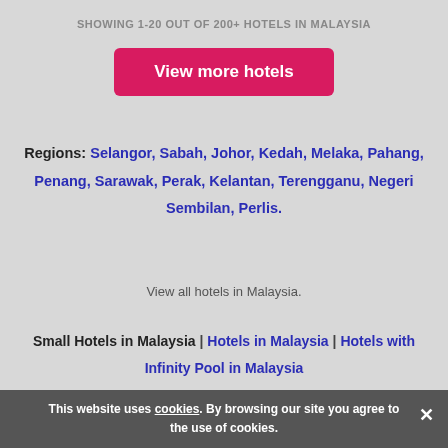SHOWING 1-20 OUT OF 200+ HOTELS IN MALAYSIA
View more hotels
Regions: Selangor, Sabah, Johor, Kedah, Melaka, Pahang, Penang, Sarawak, Perak, Kelantan, Terengganu, Negeri Sembilan, Perlis.
View all hotels in Malaysia.
Small Hotels in Malaysia | Hotels in Malaysia | Hotels with Infinity Pool in Malaysia
Categories 1
This website uses cookies. By browsing our site you agree to the use of cookies.